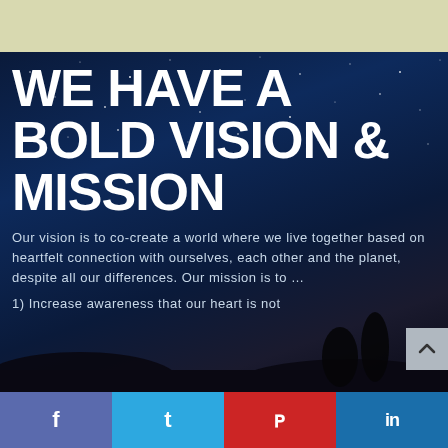[Figure (photo): Top beige/khaki colored header bar]
[Figure (photo): Night sky with stars background photo with dark silhouettes of landscape at bottom]
WE HAVE A BOLD VISION & MISSION
Our vision is to co-create a world where we live together based on heartfelt connection with ourselves, each other and the planet, despite all our differences. Our mission is to …
1) Increase awareness that our heart is not...
[Figure (infographic): Social share bar with Facebook, Twitter, Pinterest, LinkedIn buttons]